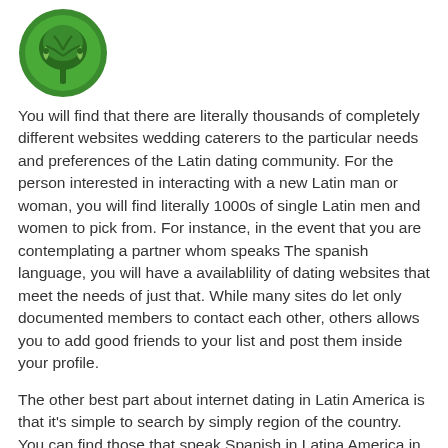[Figure (logo): Green circular logo with a tree and two yin-yang style leaves]
You will find that there are literally thousands of completely different websites wedding caterers to the particular needs and preferences of the Latin dating community. For the person interested in interacting with a new Latin man or woman, you will find literally 1000s of single Latin men and women to pick from. For instance, in the event that you are contemplating a partner whom speaks The spanish language, you will have a availablility of dating websites that meet the needs of just that. While many sites do let only documented members to contact each other, others allows you to add good friends to your list and post them inside your profile.
The other best part about internet dating in Latin America is that it's simple to search by simply region of the country. You can find those that speak Spanish in Latina America in the cities of Buenos latin wives Aires, Mexico City, Bogota, and Santiago de la Vega, to name a few. There are sites which in turn focus on a certain area, such as the Caribbean, which would allow you to identify members based in Malograr Plata, the Dominican